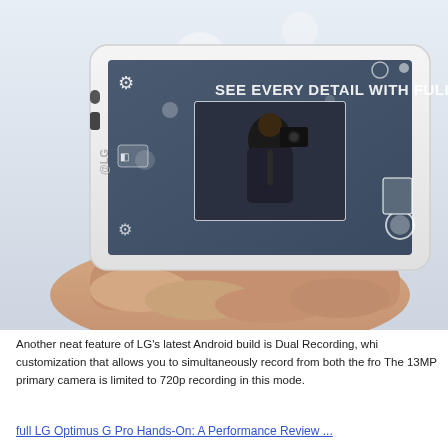[Figure (photo): A white LG smartphone held in a hand, displayed in landscape orientation. The phone screen shows a camera app interface with the text 'SEE EVERY DETAIL WITH FULL HD' and a dual-recording preview showing a man holding a camera reflected in a smaller inset window on the screen.]
Another neat feature of LG's latest Android build is Dual Recording, whi customization that allows you to simultaneously record from both the fro The 13MP primary camera is limited to 720p recording in this mode.
full LG Optimus G Pro Hands-On: A Performance Review ...